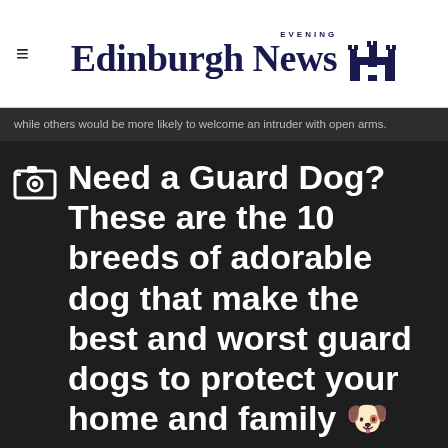Edinburgh Evening News
while others would be more likely to welcome an intruder with open arms.
Need a Guard Dog? These are the 10 breeds of adorable dog that make the best and worst guard dogs to protect your home and family 🐶